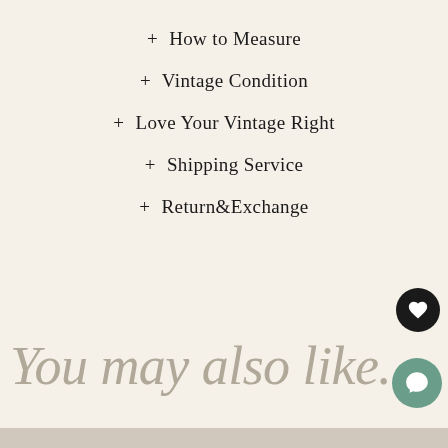+ How to Measure
+ Vintage Condition
+ Love Your Vintage Right
+ Shipping Service
+ Return&Exchange
You may also like.